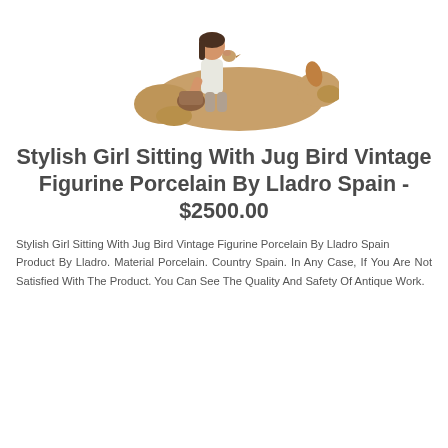[Figure (photo): A porcelain figurine of a stylish girl sitting with a jug and a reclining dog or animal, by Lladro Spain. The figurine shows a young woman in a white top leaning on a large tan/brown reclining animal.]
Stylish Girl Sitting With Jug Bird Vintage Figurine Porcelain By Lladro Spain - $2500.00
Stylish Girl Sitting With Jug Bird Vintage Figurine Porcelain By Lladro Spain
Product By Lladro. Material Porcelain. Country Spain. In Any Case, If You Are Not Satisfied With The Product. You Can See The Quality And Safety Of Antique Work.